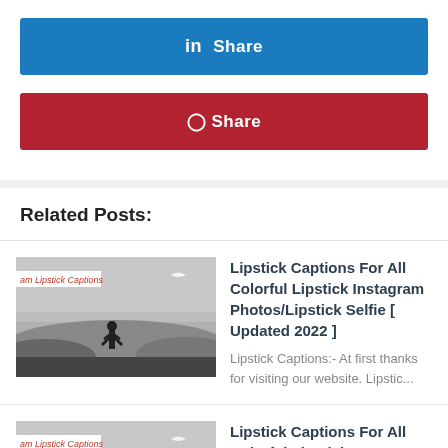[Figure (other): LinkedIn share button — blue button with 'in Share' text]
[Figure (other): Pinterest share button — red button with Pinterest icon and 'Share' text]
Related Posts:
[Figure (photo): Thumbnail image for Lipstick Captions post 2022 — silhouette of person on hill with 'am Lipstick Captions' overlay label]
Lipstick Captions For All Colorful Lipstick Instagram Photos/Lipstick Selfie [ Updated 2022 ]
Lipstick Captions:- At first thanks for visiting our website. Lipstic...
[Figure (photo): Thumbnail image for Lipstick Captions post 2021 — silhouette of person on hill with 'am Lipstick Captions' overlay label]
Lipstick Captions For All Colorful Lipstick Instagram Photos/Lipstick Selfie [ Updated 2021 ]
Lipstick Captions:- At first thanks for visiting our website.